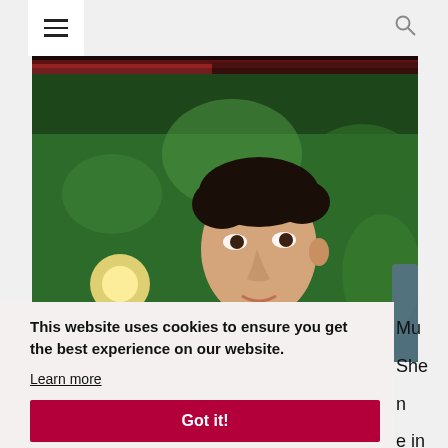☰  🔍
[Figure (photo): Partial red-toned image strip at top]
[Figure (photo): Young Asian man looking upward, bokeh background with green foliage and warm light]
This website uses cookies to ensure you get the best experience on our website.
Learn more
Got it!
Mu
She
n
e in